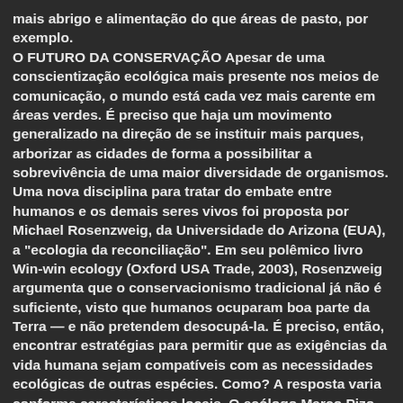mais abrigo e alimentação do que áreas de pasto, por exemplo. O FUTURO DA CONSERVAÇÃO Apesar de uma conscientização ecológica mais presente nos meios de comunicação, o mundo está cada vez mais carente em áreas verdes. É preciso que haja um movimento generalizado na direção de se instituir mais parques, arborizar as cidades de forma a possibilitar a sobrevivência de uma maior diversidade de organismos. Uma nova disciplina para tratar do embate entre humanos e os demais seres vivos foi proposta por Michael Rosenzweig, da Universidade do Arizona (EUA), a "ecologia da reconciliação". Em seu polêmico livro Win-win ecology (Oxford USA Trade, 2003), Rosenzweig argumenta que o conservacionismo tradicional já não é suficiente, visto que humanos ocuparam boa parte da Terra — e não pretendem desocupá-la. É preciso, então, encontrar estratégias para permitir que as exigências da vida humana sejam compatíveis com as necessidades ecológicas de outras espécies. Como? A resposta varia conforme características locais. O ecólogo Marco Pizo, da Universidade do Vale do Rio dos Sinos (Unisinos).